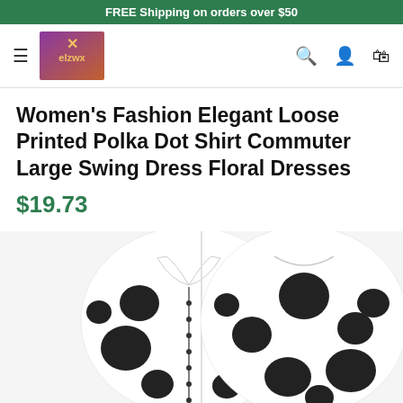FREE Shipping on orders over $50
[Figure (logo): elzwx brand logo with purple/orange gradient background and gold text]
Women's Fashion Elegant Loose Printed Polka Dot Shirt Commuter Large Swing Dress Floral Dresses
$19.73
[Figure (photo): Two views of a white polka dot shirt dress with large black spots — front view showing collar and buttons on left, back view on right]